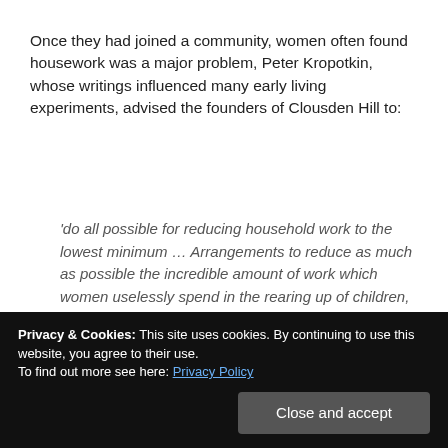Once they had joined a community, women often found housework was a major problem, Peter Kropotkin, whose writings influenced many early living experiments, advised the founders of Clousden Hill to:
'do all possible for reducing household work to the lowest minimum … Arrangements to reduce as much as possible the incredible amount of work which women uselessly spend in the rearing up of children, as well as in the household work, are … as essential to the success of the community as the proper arrangement of the fields, the greenhouses,
Privacy & Cookies: This site uses cookies. By continuing to use this website, you agree to their use. To find out more see here: Privacy Policy